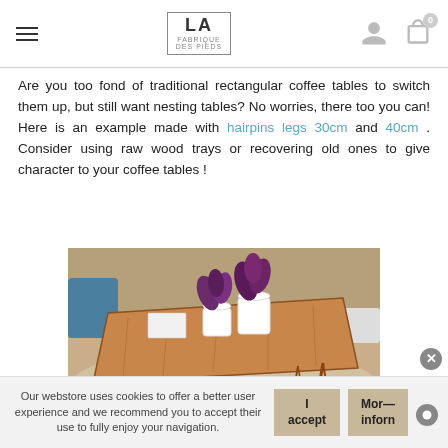LA FABRIQUE DES PIEDS — navigation bar with hamburger menu, logo, user icon, cart icon
Are you too fond of traditional rectangular coffee tables to switch them up, but still want nesting tables? No worries, there too you can! Here is an example made with hairpins legs 30cm and 40cm . Consider using raw wood trays or recovering old ones to give character to your coffee tables !
[Figure (photo): A rectangular live-edge wooden coffee table with hairpin legs, with two white plant pots on top, on a light rug in a living room setting.]
Our webstore uses cookies to offer a better user experience and we recommend you to accept their use to fully enjoy your navigation.